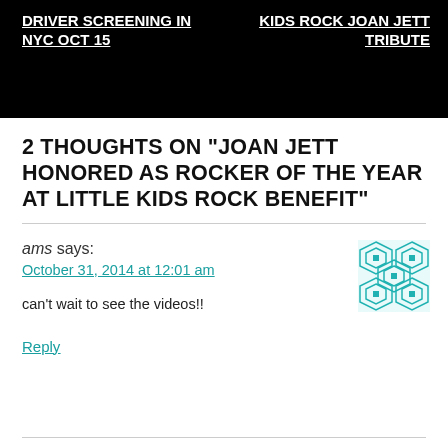DRIVER SCREENING IN NYC OCT 15 | KIDS ROCK JOAN JETT TRIBUTE
2 THOUGHTS ON “JOAN JETT HONORED AS ROCKER OF THE YEAR AT LITTLE KIDS ROCK BENEFIT”
ams says: October 31, 2014 at 12:01 am

can't wait to see the videos!!

Reply